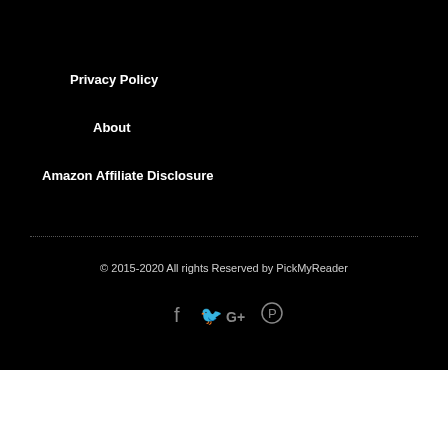Privacy Policy
About
Amazon Affiliate Disclosure
© 2015-2020 All rights Reserved by PickMyReader